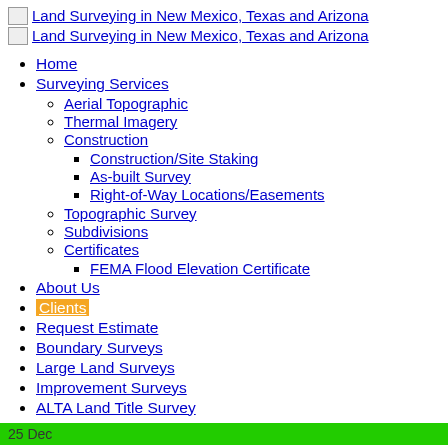Land Surveying in New Mexico, Texas and Arizona (x2 logo links)
Home
Surveying Services
Aerial Topographic
Thermal Imagery
Construction
Construction/Site Staking
As-built Survey
Right-of-Way Locations/Easements
Topographic Survey
Subdivisions
Certificates
FEMA Flood Elevation Certificate
About Us
Clients
Request Estimate
Boundary Surveys
Large Land Surveys
Improvement Surveys
ALTA Land Title Survey
25 Dec
used car in surat under 2 lakh